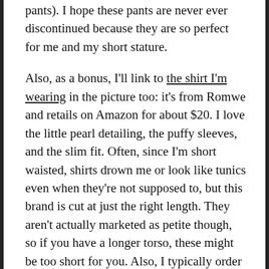pants). I hope these pants are never ever discontinued because they are so perfect for me and my short stature.
Also, as a bonus, I'll link to the shirt I'm wearing in the picture too: it's from Romwe and retails on Amazon for about $20. I love the little pearl detailing, the puffy sleeves, and the slim fit. Often, since I'm short waisted, shirts drown me or look like tunics even when they're not supposed to, but this brand is cut at just the right length. They aren't actually marketed as petite though, so if you have a longer torso, these might be too short for you. Also, I typically order two sizes up (the shirt in the picture is a large). It can be annoying guessing at sizing for fast fashion, but I typically try to err on getting a bigger size whenever possible since lots of similar brands fit smaller than expected